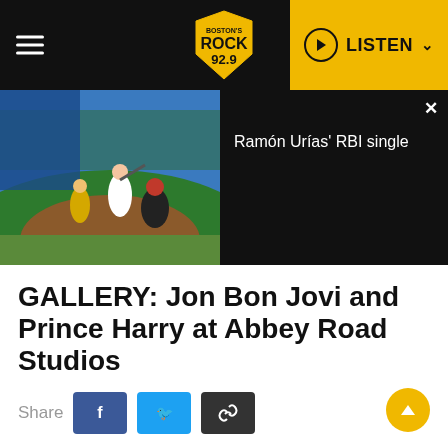ROCK 92.9 | LISTEN
[Figure (screenshot): Baseball game screenshot showing players on field with umpire and catcher, with video notification panel showing 'Ramón Urías' RBI single']
GALLERY: Jon Bon Jovi and Prince Harry at Abbey Road Studios
Share
LONDON, ENGLAND - FEBRUARY 28: Prince Harry, Duke of Sussex speaks with Jon Bon Jovi at Abbey Road Studios, where a single has been recorded for the Invictus Games Foundation on February 28, 2020 in London